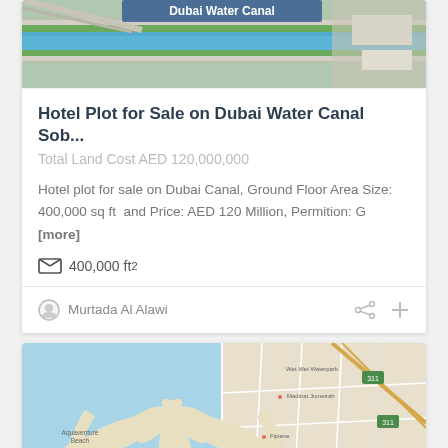[Figure (photo): Aerial/satellite view of Dubai Water Canal with label 'Dubai Water Canal' overlaid]
Hotel Plot for Sale on Dubai Water Canal Sob...
Total Land Cost AED 120,000,000
Hotel plot for sale on Dubai Canal, Ground Floor Area Size: 400,000 sq ft  and Price: AED 120 Million, Permition: G [more]
400,000 ft²
Murtada Al Alawi
[Figure (map): Google Maps view showing Palm Jumeirah, Dubai coastline with labels: Aquaventure Beach, THE PALM JUMEIRAH, Palm Jumeirah, Madinat Jumeirah, W Wet Wet Waterpark, Fipiece, and road network]